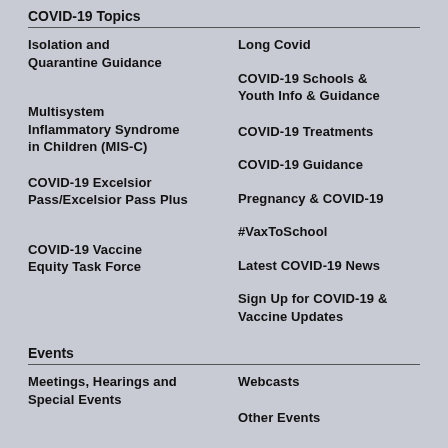COVID-19 Topics
Isolation and Quarantine Guidance
Long Covid
COVID-19 Schools & Youth Info & Guidance
Multisystem Inflammatory Syndrome in Children (MIS-C)
COVID-19 Treatments
COVID-19 Guidance
COVID-19 Excelsior Pass/Excelsior Pass Plus
Pregnancy & COVID-19
#VaxToSchool
COVID-19 Vaccine Equity Task Force
Latest COVID-19 News
Sign Up for COVID-19 & Vaccine Updates
Events
Meetings, Hearings and Special Events
Webcasts
Other Events